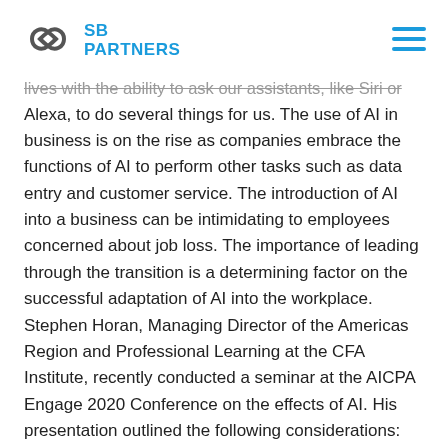SB PARTNERS
...lives with the ability to ask our assistants, like Siri or Alexa, to do several things for us. The use of AI in business is on the rise as companies embrace the functions of AI to perform other tasks such as data entry and customer service. The introduction of AI into a business can be intimidating to employees concerned about job loss. The importance of leading through the transition is a determining factor on the successful adaptation of AI into the workplace. Stephen Horan, Managing Director of the Americas Region and Professional Learning at the CFA Institute, recently conducted a seminar at the AICPA Engage 2020 Conference on the effects of AI. His presentation outlined the following considerations: